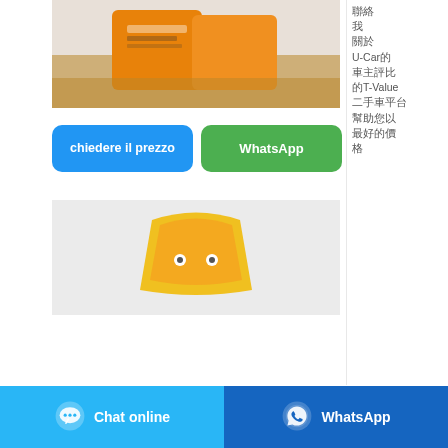[Figure (photo): Orange product packaging bags on a wooden floor with white background]
聯絡
我
關於
U-Car的
車主評比
的T-Value
二手車平台
幫助您以
最好的價
格
chiedere il prezzo
WhatsApp
[Figure (photo): Yellow/orange product packaging on gray background]
Chat online
WhatsApp